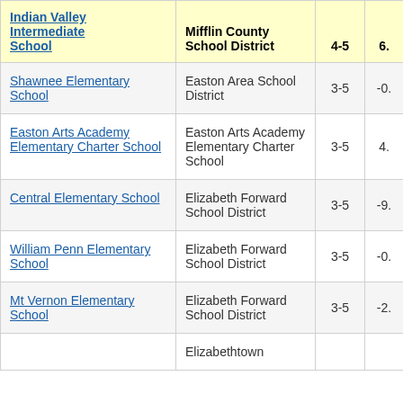| Indian Valley Intermediate School | Mifflin County School District | 4-5 | 6. |
| --- | --- | --- | --- |
| Shawnee Elementary School | Easton Area School District | 3-5 | -0. |
| Easton Arts Academy Elementary Charter School | Easton Arts Academy Elementary Charter School | 3-5 | 4. |
| Central Elementary School | Elizabeth Forward School District | 3-5 | -9. |
| William Penn Elementary School | Elizabeth Forward School District | 3-5 | -0. |
| Mt Vernon Elementary School | Elizabeth Forward School District | 3-5 | -2. |
|  | Elizabethtown |  |  |